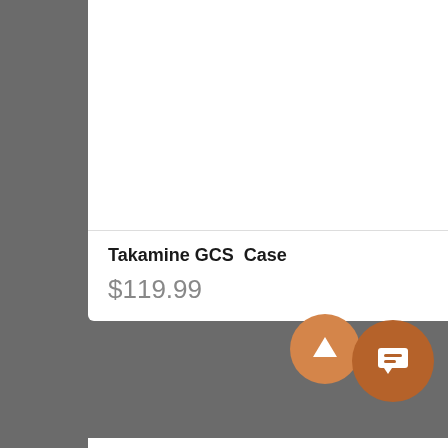[Figure (photo): Takamine GCS guitar case, black, viewed from above, with Takamine logo on the bottom portion]
Takamine GCS  Case
$119.99
[Figure (photo): Black teardrop-shaped guitar pickguard on white background]
Benson Small Black Pickguard...